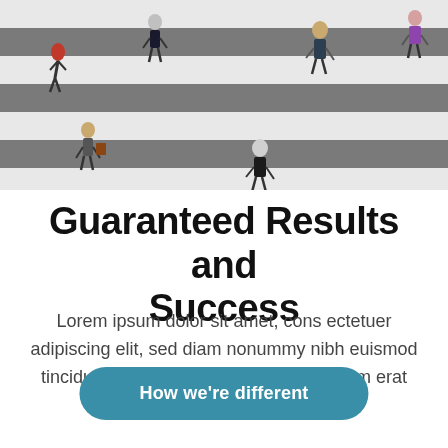[Figure (photo): Aerial view of pedestrians walking on a crosswalk with alternating white and dark stripes, top-down perspective]
Guaranteed Results and Success
Lorem ipsum dolor sit amet, cons ectetuer adipiscing elit, sed diam nonummy nibh euismod tincidunt ut laoreet dolore magna aliquam erat volutpat.
How we're different